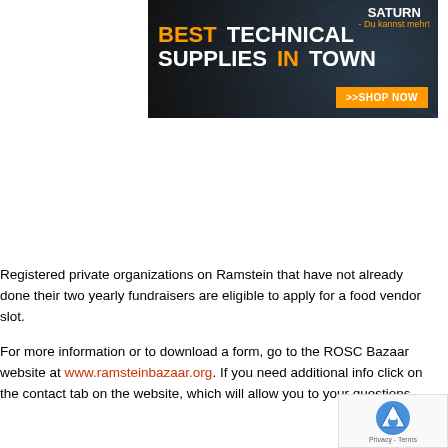[Figure (illustration): Advertisement banner for Saturn: 'BEST TECHNICAL SUPPLIES IN TOWN' with a '>>SHOP NOW' button on a dark geometric background with Saturn logo.]
Registered private organizations on Ramstein that have not already done their two yearly fundraisers are eligible to apply for a food vendor slot.
For more information or to download a form, go to the ROSC Bazaar website at www.ramsteinbazaar.org. If you need additional info click on the contact tab on the website, which will allow you to your questions.